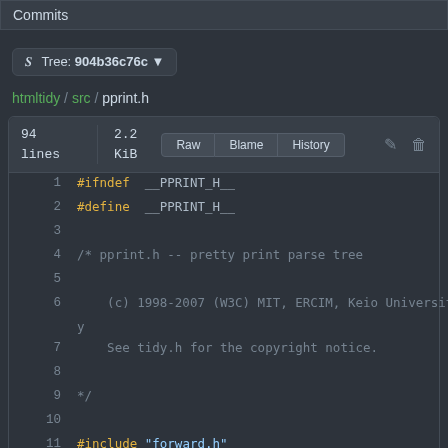Commits
Tree: 904b36c76c
htmltidy / src / pprint.h
| lines | size | Raw | Blame | History |
| --- | --- | --- | --- | --- |
| 94 lines | 2.2 KiB | Raw | Blame | History |
[Figure (screenshot): Code view of pprint.h showing lines 1-11 with #ifndef __PPRINT_H__, #define __PPRINT_H__, comment block with copyright notice, and #include "forward.h"]